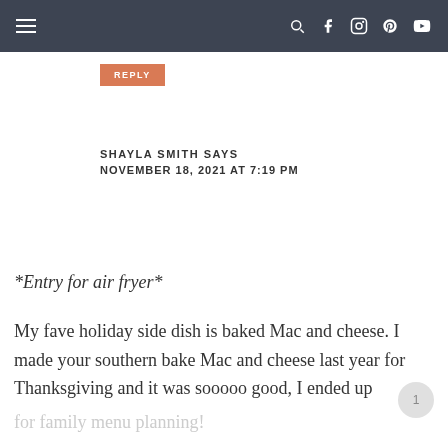Navigation bar with hamburger menu and social icons
REPLY
SHAYLA SMITH SAYS
NOVEMBER 18, 2021 AT 7:19 PM
*Entry for air fryer*
My fave holiday side dish is baked Mac and cheese. I made your southern bake Mac and cheese last year for Thanksgiving and it was sooooo good, I ended up repeating for Christmas and even put it in rotation
for family menu planning!